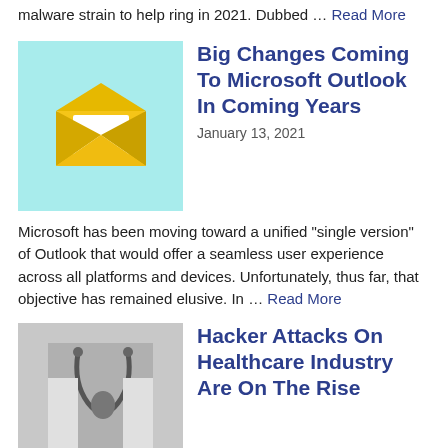malware strain to help ring in 2021. Dubbed … Read More
[Figure (illustration): Envelope icon on light blue background representing Microsoft Outlook]
Big Changes Coming To Microsoft Outlook In Coming Years
January 13, 2021
Microsoft has been moving toward a unified "single version" of Outlook that would offer a seamless user experience across all platforms and devices. Unfortunately, thus far, that objective has remained elusive. In … Read More
[Figure (photo): Grayscale photo of a stethoscope related to healthcare]
Hacker Attacks On Healthcare Industry Are On The Rise